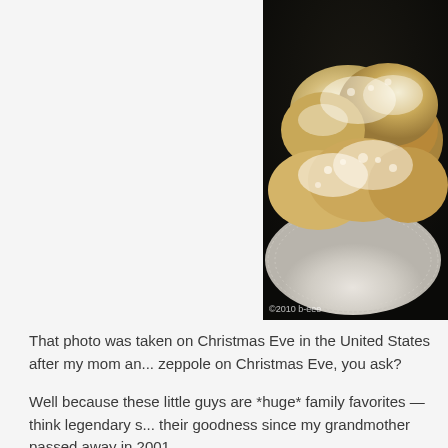[Figure (photo): Close-up photo of zeppole (Italian fried dough pastries) dusted with powdered sugar, arranged on a white doily/lace plate. Photo has a dark background. Copyright watermark '©2010 b-eee' visible at bottom.]
That photo was taken on Christmas Eve in the United States after my mom an... zeppole on Christmas Eve, you ask?
Well because these little guys are *huge* family favorites — think legendary s... their goodness since my grandmother passed away in 2001.